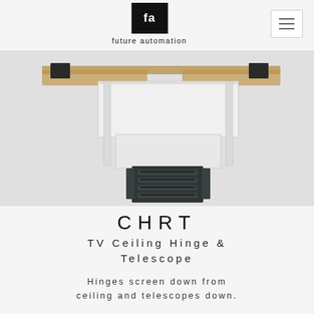[Figure (logo): Future Automation logo: black square with 'fa' text in white, brand name 'future automation' below]
[Figure (photo): 3D rendering of a ceiling-mounted TV hinge and telescope mechanism, showing a white panel being lowered from a wooden ceiling frame, with a black TV mount attached below]
CHRT
TV Ceiling Hinge & Telescope
Hinges screen down from ceiling and telescopes down.